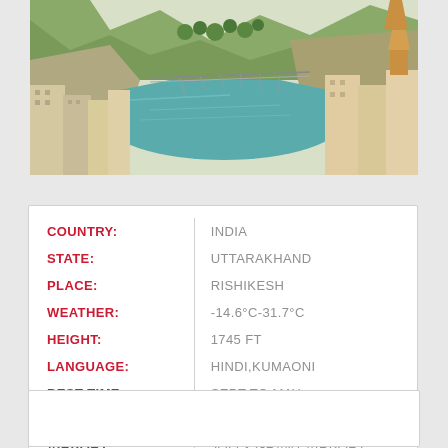[Figure (photo): Aerial/ground view of Rishikesh, India showing the Ganges river, suspension bridge, hillside buildings, and forested mountains in the background]
| Field | Value |
| --- | --- |
| COUNTRY: | INDIA |
| STATE: | UTTARAKHAND |
| PLACE: | RISHIKESH |
| WEATHER: | -14.6°C-31.7°C |
| HEIGHT: | 1745 FT |
| LANGUAGE: | HINDI,KUMAONI |
| BEST TIME: | SEPT TO MAY |
| RLY STATION: | RISHIKESH |
| AIRPORT: | JOLLY GRANT AIRPORT |